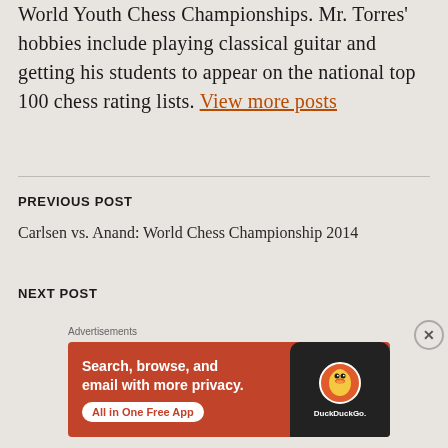World Youth Chess Championships. Mr. Torres' hobbies include playing classical guitar and getting his students to appear on the national top 100 chess rating lists. View more posts
PREVIOUS POST
Carlsen vs. Anand: World Chess Championship 2014
NEXT POST
Advertisements
[Figure (other): DuckDuckGo advertisement banner with orange background reading 'Search, browse, and email with more privacy. All in One Free App' with DuckDuckGo logo and phone graphic]